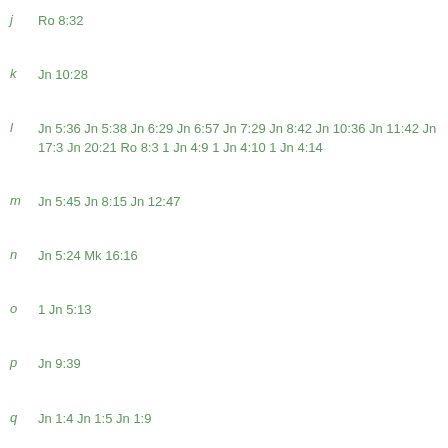j  Ro 8:32
k  Jn 10:28
l  Jn 5:36 Jn 5:38 Jn 6:29 Jn 6:57 Jn 7:29 Jn 8:42 Jn 10:36 Jn 11:42 Jn 17:3 Jn 20:21 Ro 8:3 1 Jn 4:9 1 Jn 4:10 1 Jn 4:14
m  Jn 5:45 Jn 8:15 Jn 12:47
n  Jn 5:24 Mk 16:16
o  1 Jn 5:13
p  Jn 9:39
q  Jn 1:4 Jn 1:5 Jn 1:9
r  Is 30:10 Je 5:31